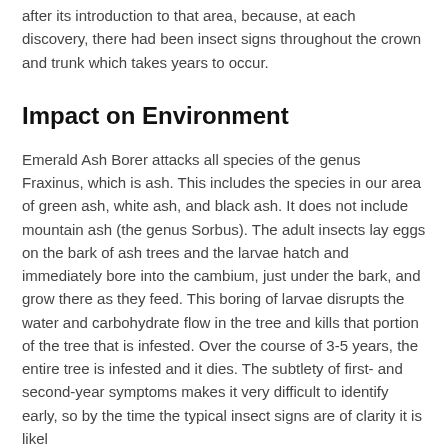after its introduction to that area, because, at each discovery, there had been insect signs throughout the crown and trunk which takes years to occur.
Impact on Environment
Emerald Ash Borer attacks all species of the genus Fraxinus, which is ash. This includes the species in our area of green ash, white ash, and black ash. It does not include mountain ash (the genus Sorbus). The adult insects lay eggs on the bark of ash trees and the larvae hatch and immediately bore into the cambium, just under the bark, and grow there as they feed. This boring of larvae disrupts the water and carbohydrate flow in the tree and kills that portion of the tree that is infested. Over the course of 3-5 years, the entire tree is infested and it dies. The subtlety of first- and second-year symptoms makes it very difficult to identify early, so by the time the典型insect signs are of clarity it is likely...